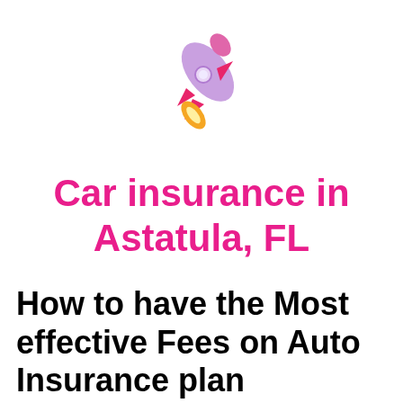[Figure (illustration): Rocket emoji illustration — purple rocket with pink fins and orange flame, flying diagonally upward to the right]
Car insurance in Astatula, FL
How to have the Most effective Fees on Auto Insurance plan